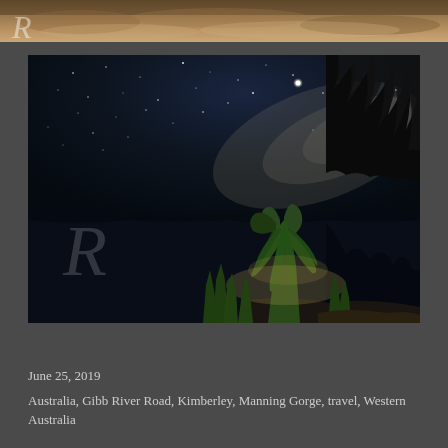[Figure (photo): Partial top strip of a landscape photo showing sandy/rocky terrain with a decorative italic R watermark letter]
[Figure (photo): Night sky photography showing the Milky Way and a bright star/planet above a river scene with illuminated pandanus/tropical plants and reed grasses in the foreground, tree silhouettes on the right, and a watermark italic R in the lower left]
June 25, 2019
Australia, Gibb River Road, Kimberley, Manning Gorge, travel, Western Australia